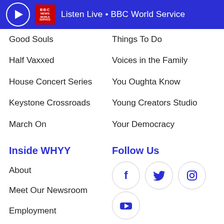Listen Live • BBC World Service
Good Souls
Half Vaxxed
House Concert Series
Keystone Crossroads
March On
Things To Do
Voices in the Family
You Oughta Know
Young Creators Studio
Your Democracy
Inside WHYY
About
Meet Our Newsroom
Employment
Sounding Board
N.I.C.E. Initiative
Contact Us
Sponsorship
Follow Us
[Figure (illustration): Social media icons: Facebook, Twitter, Instagram, YouTube in circular outlines]